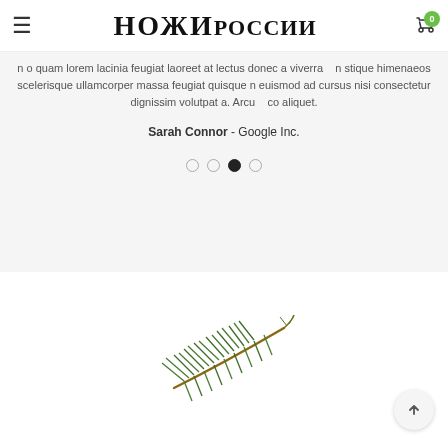НОЖИ РОССИИ
n o quam lorem lacinia feugiat laoreet at lectus donec a viverra stique himenaeos scelerisque ullamcorper massa feugiat quisque n euismod ad cursus nisi consectetur dignissim volutpat a. Arcu con aliquet.
Sarah Connor - Google Inc.
[Figure (other): Carousel pagination dots: 4 dots, third one filled/active]
[Figure (photo): Pine/fir branch illustration on white background]